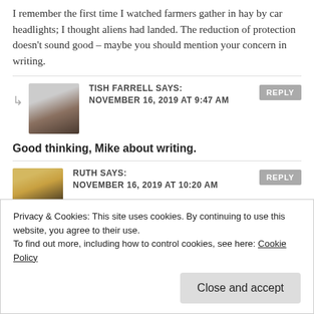I remember the first time I watched farmers gather in hay by car headlights; I thought aliens had landed. The reduction of protection doesn't sound good – maybe you should mention your concern in writing.
TISH FARRELL SAYS: NOVEMBER 16, 2019 AT 9:47 AM
Good thinking, Mike about writing.
RUTH SAYS: NOVEMBER 16, 2019 AT 10:20 AM
Such drama and your words bring us right on in to the scene. Farmers see how the field transforms
Privacy & Cookies: This site uses cookies. By continuing to use this website, you agree to their use.
To find out more, including how to control cookies, see here: Cookie Policy
Close and accept